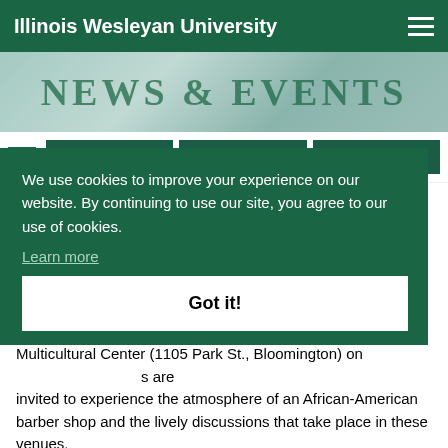Illinois Wesleyan University
[Figure (illustration): NEWS & EVENTS banner with light teal background and campus imagery]
Request Info | Apply Now | Visit
Multicultural Center to Host a Barber Shop Simulation
September 13, 2006
We use cookies to improve your experience on our website. By continuing to use our site, you agree to our use of cookies.
Learn more
Got it!
Blank Lines University's ... invited to experience the atmosphere of an African-American barber shop and the lively discussions that take place in these venues.